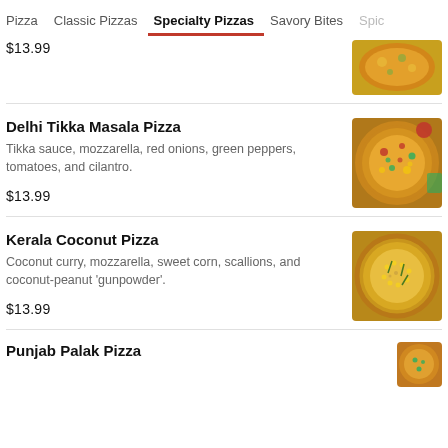Pizza  Classic Pizzas  Specialty Pizzas  Savory Bites  Spic
$13.99
Delhi Tikka Masala Pizza
Tikka sauce, mozzarella, red onions, green peppers, tomatoes, and cilantro.
$13.99
Kerala Coconut Pizza
Coconut curry, mozzarella, sweet corn, scallions, and coconut-peanut 'gunpowder'.
$13.99
Punjab Palak Pizza